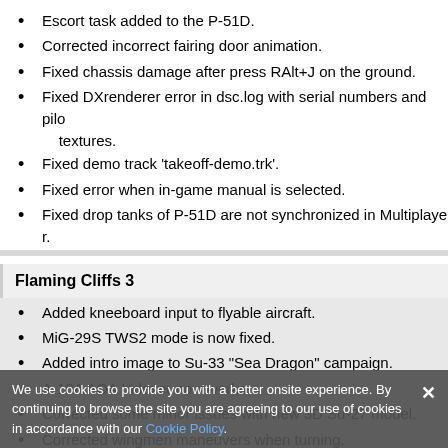Escort task added to the P-51D.
Corrected incorrect fairing door animation.
Fixed chassis damage after press RAlt+J on the ground.
Fixed DXrenderer error in dsc.log with serial numbers and pilot textures.
Fixed demo track 'takeoff-demo.trk'.
Fixed error when in-game manual is selected.
Fixed drop tanks of P-51D are not synchronized in Multiplayer.
Flaming Cliffs 3
Added kneeboard input to flyable aircraft.
MiG-29S TWS2 mode is now fixed.
Added intro image to Su-33 "Sea Dragon" campaign.
A-10A AOA Indexer now works.
Corrected some minor issues with new 3D Su-27 model.
Corrected wingmen maneuvers when turning.
Fixed wingmen not turning off radar when commanded to do so.
Fixed Su-27 campaign mission typos.
Pilots models are now correct.
Fixed F-15C Fuel Tank Pylon indication on MFD.
Fixed tracks to fill the F-15C fight tasks.
Fixed Su-33 getting stuck near island on the Kuznetsov deck.
Corrected MiG-29 HUD indications.
We use cookies to provide you with a better onsite experience. By continuing to browse the site you are agreeing to our use of cookies in accordance with our Cookie Policy.